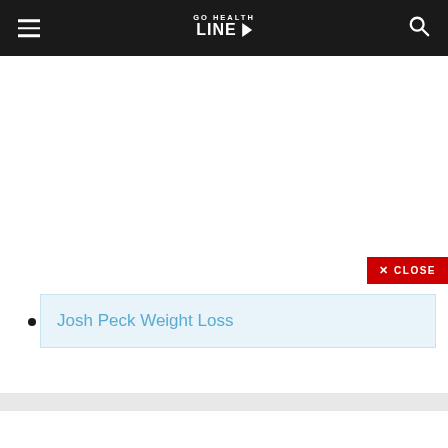GO HEALTH LINE
Josh Peck Weight Loss